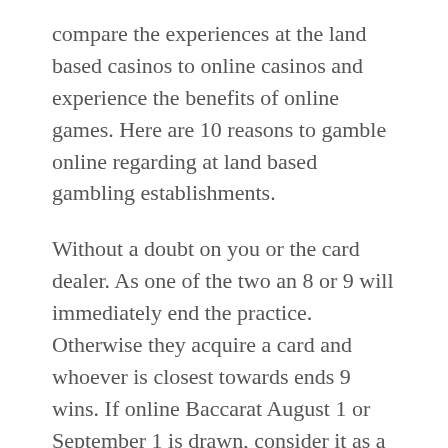compare the experiences at the land based casinos to online casinos and experience the benefits of online games. Here are 10 reasons to gamble online regarding at land based gambling establishments.
Without a doubt on you or the card dealer. As one of the two an 8 or 9 will immediately end the practice. Otherwise they acquire a card and whoever is closest towards ends 9 wins. If online Baccarat August 1 or September 1 is drawn, consider it as a “natural” and the game wrapped up. If no naturals are pulled, get player and dealer another card, and also the one closest to “9” will win. Lawn to use to alternate between one and an alternate. This is where your intuition can bring in finance. Not always hold onto